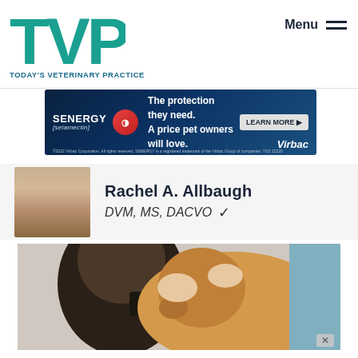[Figure (logo): TVP logo — large teal letters T, V, P]
TODAY'S VETERINARY PRACTICE
Menu ≡
[Figure (infographic): Senergy (selamectin) advertisement banner — 'The protection they need. A price pet owners will love. LEARN MORE ▶ Virbac']
[Figure (photo): Headshot of Rachel A. Allbaugh, female veterinarian with auburn hair, smiling]
Rachel A. Allbaugh
DVM, MS, DACVO ∨
[Figure (photo): Veterinarian examining a golden retriever dog's eye with an ophthalmoscope, assisted by another person]